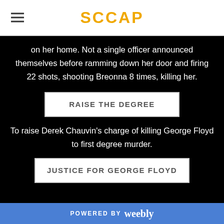SCCAP
on her home. Not a single officer announced themselves before ramming down her door and firing 22 shots, shooting Breonna 8 times, killing her.
RAISE THE DEGREE
To raise Derek Chauvin's charge of killing George Floyd to first degree murder.
JUSTICE FOR GEORGE FLOYD
POWERED BY weebly